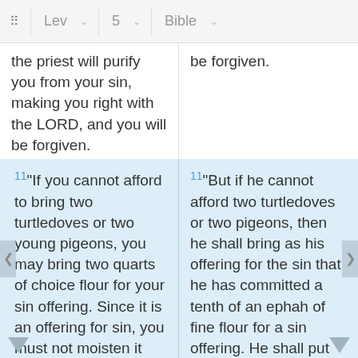Lev  5  Bible
the priest will purify you from your sin, making you right with the LORD, and you will be forgiven.
be forgiven.
11 "If you cannot afford to bring two turtledoves or two young pigeons, you may bring two quarts of choice flour for your sin offering. Since it is an offering for sin, you must not moisten it with olive oil or put any frankincense on it.
11 "But if he cannot afford two turtledoves or two pigeons, then he shall bring as his offering for the sin that he has committed a tenth of an ephah of fine flour for a sin offering. He shall put no oil on it and shall put no frankincense on it, for it is a sin offering.